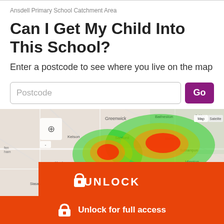Ansdell Primary School Catchment Area
Can I Get My Child Into This School?
Enter a postcode to see where you live on the map
[Figure (map): Heatmap showing school catchment area overlaid on a road map. The catchment zone is shown with a heat gradient from red (core area) through yellow and green (outer boundary). There is an orange unlock overlay with 'UNLOCK' text.]
Unlock for full access